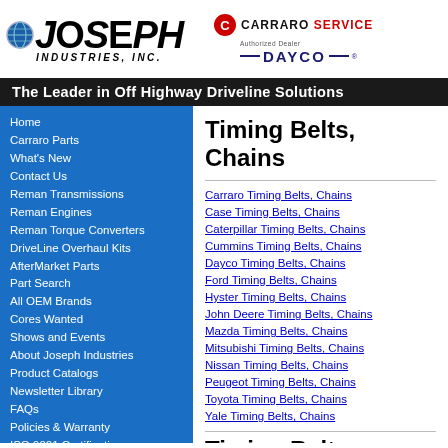[Figure (logo): Joseph Industries Inc. logo with globe icon]
[Figure (logo): Carraro Service logo and Dayco Authorized Dealer logo]
The Leader in Off Highway Driveline Solutions
Home
Carraro Parts
What's New
Contact Us
Reman Transmissions
Reman Engines
Reman Torque Converters
DriveLine Overhaul Kits
AfterMarket Parts
Part Search
All OEM Brands
Cores Wanted
Shows and Events
About Joseph Industries
Product Catalogs
Newsletter Library
FAQs
Policies & Warranty
ISO 9001 Certification
Forms
Identification References
Timing Belts, Chains
Carraro Timing Belts, Chains
Case Timing Belts, Chains
Caterpillar Timing Belts, Chains
Cummins Timing Belts, Chains
Dayco Timing Belts, Chains
Ford Timing Belts, Chains
Hyster Timing Belts, Chains
John Deere Timing Belts, Chains
Mazda Timing Belts, Chains
Mitsubishi Timing Belts, Chains
Nissan Timing Belts, Chains
Peugeot Timing Belts, Chains
Toyota Timing Belts, Chains
Yale Timing Belts, Chains
Timing Belts, Chains